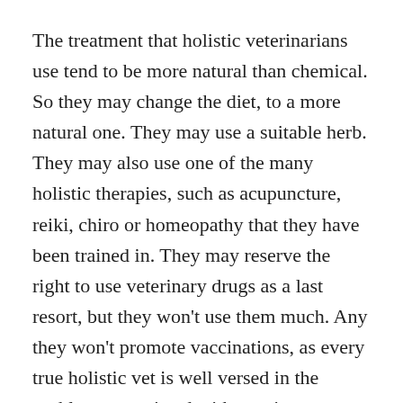The treatment that holistic veterinarians use tend to be more natural than chemical. So they may change the diet, to a more natural one. They may use a suitable herb. They may also use one of the many holistic therapies, such as acupuncture, reiki, chiro or homeopathy that they have been trained in. They may reserve the right to use veterinary drugs as a last resort, but they won't use them much. Any they won't promote vaccinations, as every true holistic vet is well versed in the problems associated with vaccines.
These are the main differences between holistic vets and mainstream vets (or chemical vets as I like to call them), who limit their considerations. They often consider the incorrect diet...